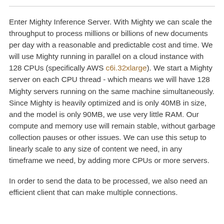Enter Mighty Inference Server. With Mighty we can scale the throughput to process millions or billions of new documents per day with a reasonable and predictable cost and time. We will use Mighty running in parallel on a cloud instance with 128 CPUs (specifically AWS c6i.32xlarge). We start a Mighty server on each CPU thread - which means we will have 128 Mighty servers running on the same machine simultaneously. Since Mighty is heavily optimized and is only 40MB in size, and the model is only 90MB, we use very little RAM. Our compute and memory use will remain stable, without garbage collection pauses or other issues. We can use this setup to linearly scale to any size of content we need, in any timeframe we need, by adding more CPUs or more servers.
In order to send the data to be processed, we also need an efficient client that can make multiple connections.